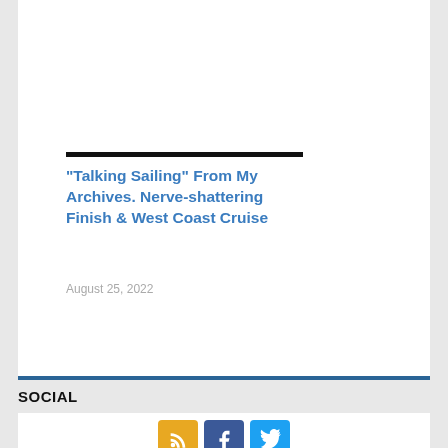“Talking Sailing” From My Archives. Nerve-shattering Finish & West Coast Cruise
August 25, 2022
SOCIAL
[Figure (infographic): Social media icon buttons: RSS (yellow), Facebook (dark blue), Twitter (light blue)]